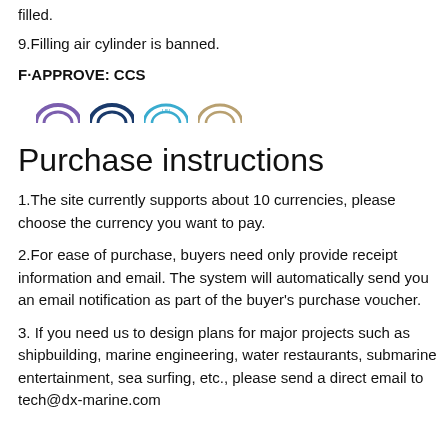filled.
9.Filling air cylinder is banned.
F·APPROVE: CCS
[Figure (logo): Four certification/approval logos shown in a row: four semicircular/arch-shaped logos in purple, dark blue, light blue/teal, and beige/gold colors]
Purchase instructions
1.The site currently supports about 10 currencies, please choose the currency you want to pay.
2.For ease of purchase, buyers need only provide receipt information and email. The system will automatically send you an email notification as part of the buyer's purchase voucher.
3. If you need us to design plans for major projects such as shipbuilding, marine engineering, water restaurants, submarine entertainment, sea surfing, etc., please send a direct email to tech@dx-marine.com